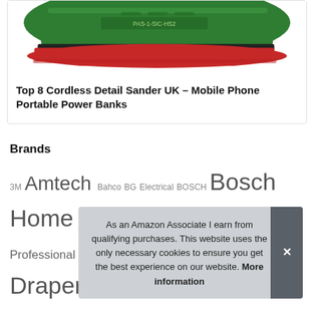[Figure (photo): Green cordless detail sander with red sanding pad, partially cropped at top]
Top 8 Cordless Detail Sander UK – Mobile Phone Portable Power Banks
Brands
3M Amtech Bahco BG Electrical BOSCH Bosch Home and Garden Bosch Professional DEWALT Draper Dulux Einhell Everbuild Faithfull Falcon Workshop Supplies Ltd. Generic Gorilla HG Johnstone's KATSU Tools Ro... Si... St... Hinge Wolfcraft WORKPRO XFORT Yale
As an Amazon Associate I earn from qualifying purchases. This website uses the only necessary cookies to ensure you get the best experience on our website. More information